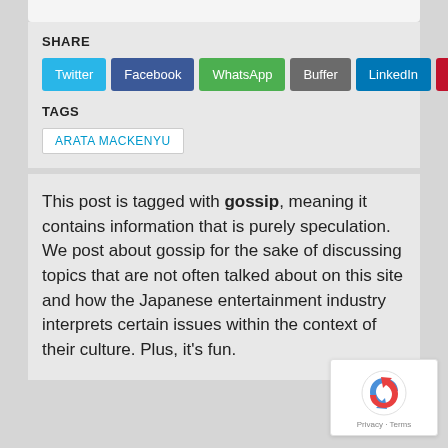SHARE
[Figure (infographic): Social share buttons: Twitter (blue), Facebook (dark blue), WhatsApp (green), Buffer (gray), LinkedIn (blue), Pin It (red)]
TAGS
ARATA MACKENYU
This post is tagged with gossip, meaning it contains information that is purely speculation.
We post about gossip for the sake of discussing topics that are not often talked about on this site and how the Japanese entertainment industry interprets certain issues within the context of their culture. Plus, it's fun.